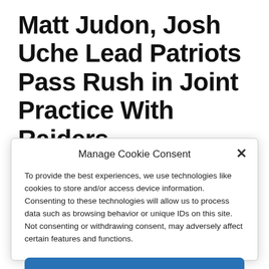Matt Judon, Josh Uche Lead Patriots Pass Rush in Joint Practice With Raiders
Manage Cookie Consent
To provide the best experiences, we use technologies like cookies to store and/or access device information. Consenting to these technologies will allow us to process data such as browsing behavior or unique IDs on this site. Not consenting or withdrawing consent, may adversely affect certain features and functions.
Accept
Cookie Policy